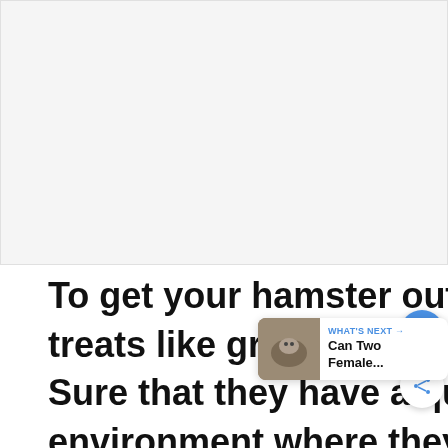[Figure (photo): Placeholder image area, light gray background representing a photo of a hamster or cage]
To get your hamster out of its cage, use treats like grains, fruit, and veg. Make Sure that they have a quiet and tranquil environment where they do not feel threatened. Place an old
[Figure (photo): Thumbnail image for 'Can Two Female...' article in What's Next widget]
WHAT'S NEXT → Can Two Female...